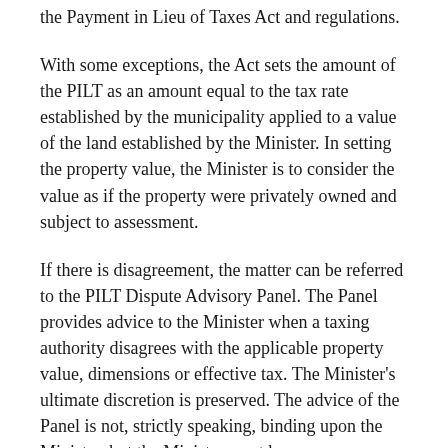the Payment in Lieu of Taxes Act and regulations.
With some exceptions, the Act sets the amount of the PILT as an amount equal to the tax rate established by the municipality applied to a value of the land established by the Minister. In setting the property value, the Minister is to consider the value as if the property were privately owned and subject to assessment.
If there is disagreement, the matter can be referred to the PILT Dispute Advisory Panel. The Panel provides advice to the Minister when a taxing authority disagrees with the applicable property value, dimensions or effective tax. The Minister’s ultimate discretion is preserved. The advice of the Panel is not, strictly speaking, binding upon the Minister, but the Minister must have some rationale for departing from the Panel’s advice.
Some very interesting litigation has arisen in recent years where the municipality and the Minister have disagreed.